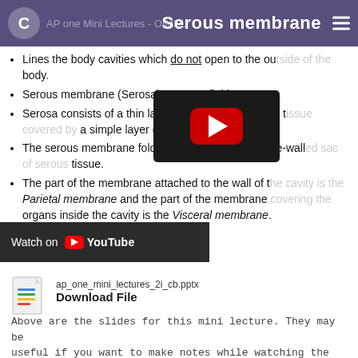C  AP one Mini Lectures - OIMDL  Serous membrane
Lines the body cavities which do not open to the outside of the body.
Serous membrane (Serosa) secretes fluid.
Serosa consists of a thin layer of loose connective tissue covered by a simple layer of epithelium.
The serous membrane folds, forming a double-walled sac of serous tissue.
The part of the membrane attached to the wall of the cavity is the Parietal membrane and the part of the membrane covering the organs inside the cavity is the Visceral membrane.
[Figure (screenshot): YouTube video embed showing a play button on a dark background thumbnail]
Watch on YouTube
[Figure (other): PowerPoint file icon with colorful google slides style colors]
ap_one_mini_lectures_2i_cb.pptx
Download File
Above are the slides for this mini lecture. They may be useful if you want to make notes while watching the